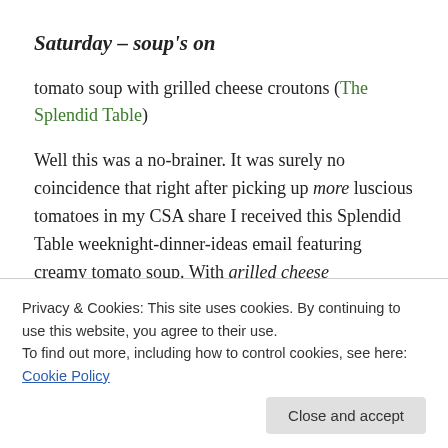Saturday – soup's on
tomato soup with grilled cheese croutons (The Splendid Table)
Well this was a no-brainer. It was surely no coincidence that right after picking up more luscious tomatoes in my CSA share I received this Splendid Table weeknight-dinner-ideas email featuring creamy tomato soup. With grilled cheese croutons?!? Yum! The croutons are merely bite-sized morsels of everyone's favorite grilled cheese
comfort meal.
Privacy & Cookies: This site uses cookies. By continuing to use this website, you agree to their use.
To find out more, including how to control cookies, see here: Cookie Policy
Close and accept